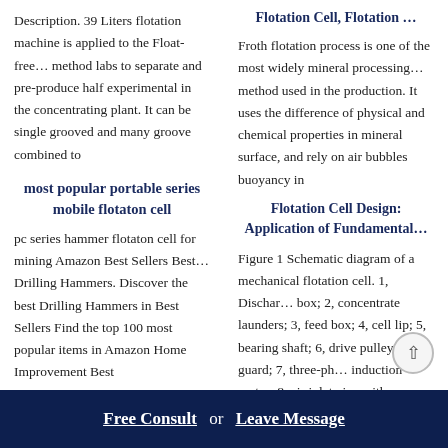Flotation Cell, Flotation …
Description. 39 Liters flotation machine is applied to the Float-free… method labs to separate and pre-produce half experimental in the concentrating plant. It can be single grooved and many groove combined to
Froth flotation process is one of the most widely mineral processing… method used in the production. It uses the difference of physical and chemical properties in mineral surface, and rely on air bubbles buoyancy in
most popular portable series mobile flotaton cell
Flotation Cell Design: Application of Fundamental…
pc series hammer flotaton cell for mining Amazon Best Sellers Best… Drilling Hammers. Discover the best Drilling Hammers in Best Sellers Find the top 100 most popular items in Amazon Home Improvement Best
Figure 1 Schematic diagram of a mechanical flotation cell. 1, Dischar… box; 2, concentrate launders; 3, feed box; 4, cell lip; 5, bearing shaft; 6, drive pulley with guard; 7, three-ph… induction motor; 8, air inlet pipe with
Free Consult  or  Leave Message